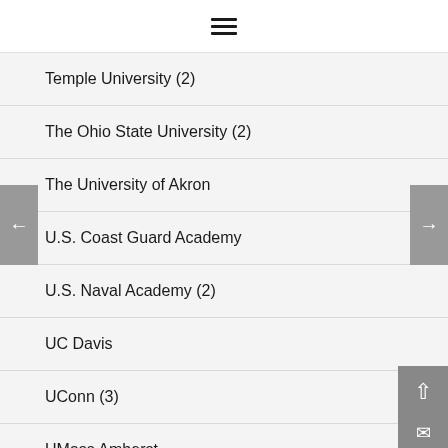☰
Temple University (2)
The Ohio State University (2)
The University of Akron
U.S. Coast Guard Academy
U.S. Naval Academy (2)
UC Davis
UConn (3)
UMass Amherst
UMBC (2)